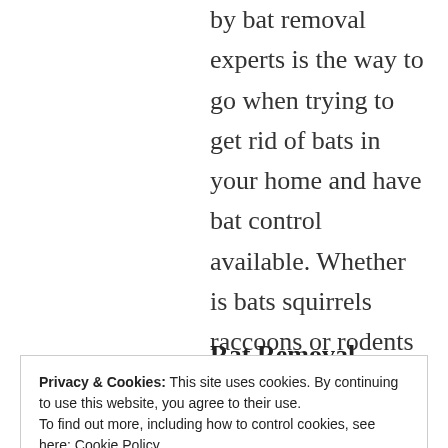by bat removal experts is the way to go when trying to get rid of bats in your home and have bat control available. Whether is bats squirrels raccoons or rodents in your attic The Wildlife Professionals can trap and remove them from your property.
Rat Removal Service by Rat
Privacy & Cookies: This site uses cookies. By continuing to use this website, you agree to their use.
To find out more, including how to control cookies, see here: Cookie Policy